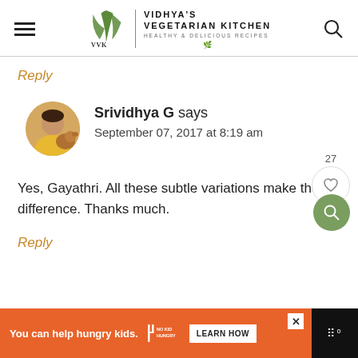[Figure (logo): Vidhya's Vegetarian Kitchen logo with VVK leaf monogram and text]
Reply
[Figure (photo): Circular avatar of Srividhya G with a dog]
Srividhya G says
September 07, 2017 at 8:19 am
Yes, Gayathri. All these subtle variations make the difference. Thanks much.
Reply
[Figure (other): Ad banner: You can help hungry kids. No Kid Hungry. Learn How.]